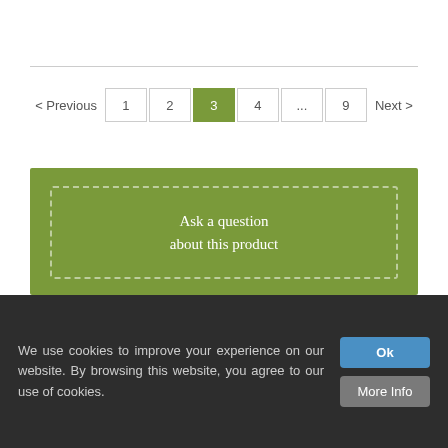< Previous  1  2  3  4  ...  9  Next >
Ask a question about this product
Our Product Range
> Organic Heirloom Seeds
> Beans
We use cookies to improve your experience on our website. By browsing this website, you agree to our use of cookies.